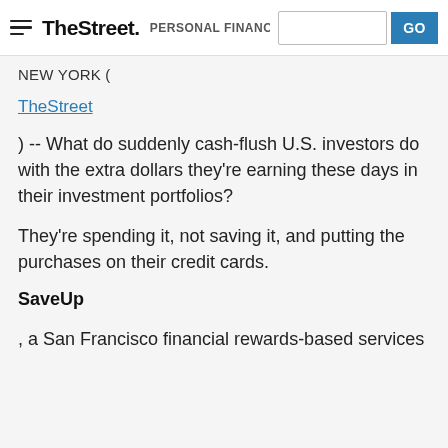TheStreet PERSONAL FINANCE GO
NEW YORK (
TheStreet
) -- What do suddenly cash-flush U.S. investors do with the extra dollars they're earning these days in their investment portfolios?
They're spending it, not saving it, and putting the purchases on their credit cards.
SaveUp
, a San Francisco financial rewards-based services